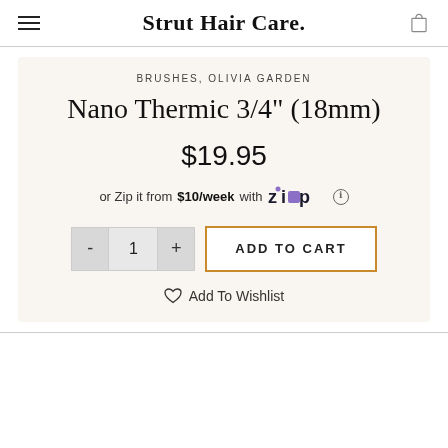Strut Hair Care.
BRUSHES, OLIVIA GARDEN
Nano Thermic 3/4" (18mm)
$19.95
or Zip it from $10/week with Zip
ADD TO CART
Add To Wishlist